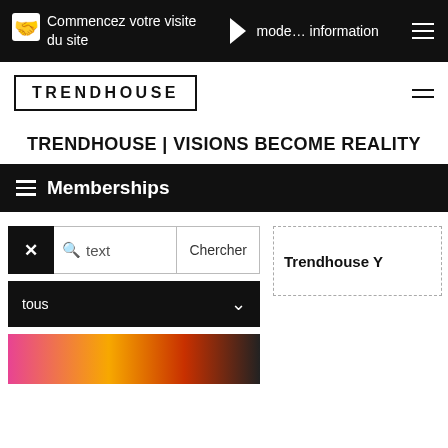Commencez votre visite du site  mode… information
[Figure (screenshot): TRENDHOUSE logo in bordered box, navigation hamburger menu icon]
TRENDHOUSE | VISIONS BECOME REALITY
Memberships
[Figure (screenshot): Search bar with X button, magnifier icon, 'text' placeholder, Chercher button; filter dropdown showing 'tous'; colored thumbnail strip; right side card with 'Trendhouse Y...' heading]